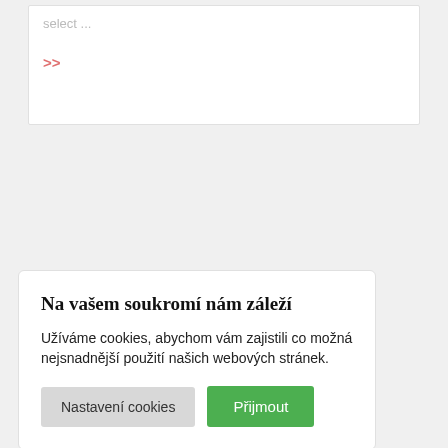select ...
>>
Na vašem soukromí nám záleží
Užíváme cookies, abychom vám zajistili co možná nejsnadnější použití našich webových stránek.
Nastavení cookies
Přijmout